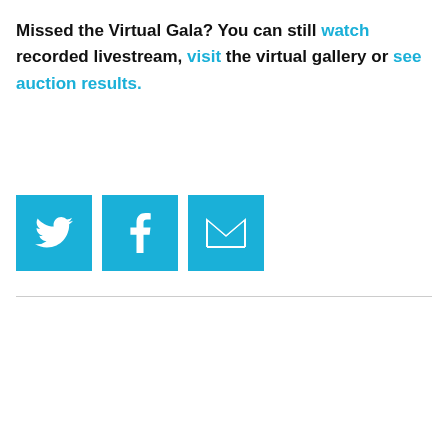Missed the Virtual Gala? You can still watch recorded livestream, visit the virtual gallery or see auction results.
[Figure (infographic): Three cyan/blue square social sharing buttons: Twitter bird icon, Facebook 'f' icon, and email envelope icon]